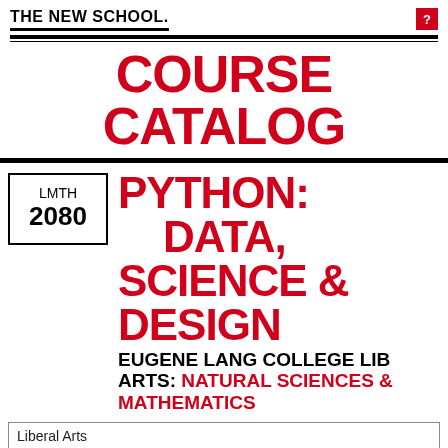THE NEW SCHOOL.
COURSE CATALOG
LMTH 2080 PYTHON: DATA, SCIENCE & DESIGN
EUGENE LANG COLLEGE LIB ARTS: NATURAL SCIENCES & MATHEMATICS
Liberal Arts